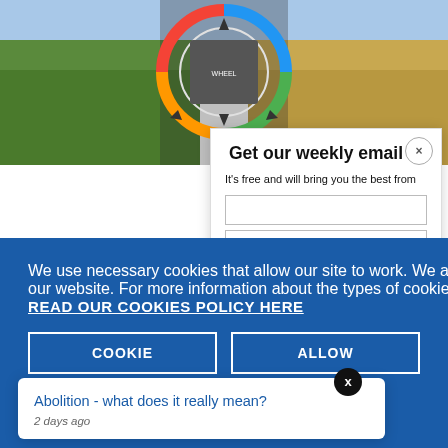[Figure (illustration): Website screenshot showing a green and golden agricultural landscape background with a circular wheel/diagram graphic in the center top portion of the page.]
Get our weekly email
It's free and will bring you the best from
We use necessary cookies that allow our site to work. We also set optional cookies that help us improve our website. For more information about the types of cookies we use. READ OUR COOKIES POLICY HERE
COOKIE
ALLOW
Abolition - what does it really mean?
2 days ago
data.